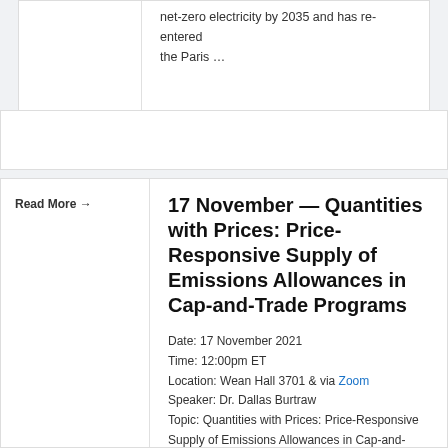net-zero electricity by 2035 and has re-entered the Paris …
Read More →
17 November — Quantities with Prices: Price-Responsive Supply of Emissions Allowances in Cap-and-Trade Programs
Date: 17 November 2021
Time: 12:00pm ET
Location: Wean Hall 3701 & via Zoom
Speaker: Dr. Dallas Burtraw
Topic: Quantities with Prices: Price-Responsive Supply of Emissions Allowances in Cap-and-Trade Programs
Abstract: Environmental policy with uncertainty is often posed as a choice between price and quantity instruments. Paradoxically, this